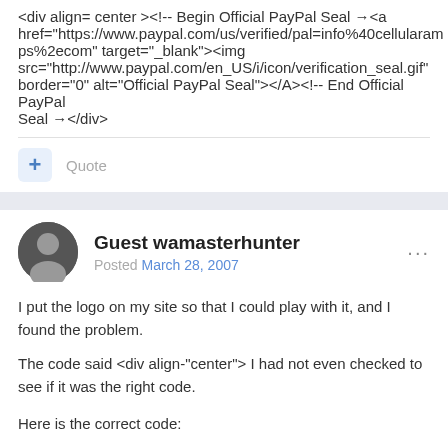<div align= center ><!-- Begin Official PayPal Seal →<a href="https://www.paypal.com/us/verified/pal=info%40cellularamps%2ecom" target="_blank"><img src="http://www.paypal.com/en_US/i/icon/verification_seal.gif" border="0" alt="Official PayPal Seal"></A><!-- End Official PayPal Seal →</div>
Quote
Guest wamasterhunter
Posted March 28, 2007
I put the logo on my site so that I could play with it, and I found the problem.
The code said <div align-"center"> I had not even checked to see if it was the right code.
Here is the correct code: